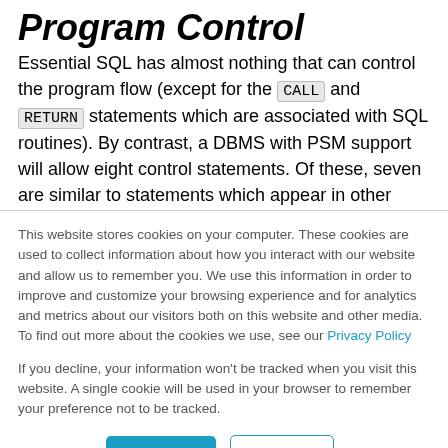Program Control
Essential SQL has almost nothing that can control the program flow (except for the CALL and RETURN statements which are associated with SQL routines). By contrast, a DBMS with PSM support will allow eight control statements. Of these, seven are similar to statements which appear in other languages. The eighth, FOR, depends on Objects which are
This website stores cookies on your computer. These cookies are used to collect information about how you interact with our website and allow us to remember you. We use this information in order to improve and customize your browsing experience and for analytics and metrics about our visitors both on this website and other media. To find out more about the cookies we use, see our Privacy Policy
If you decline, your information won't be tracked when you visit this website. A single cookie will be used in your browser to remember your preference not to be tracked.